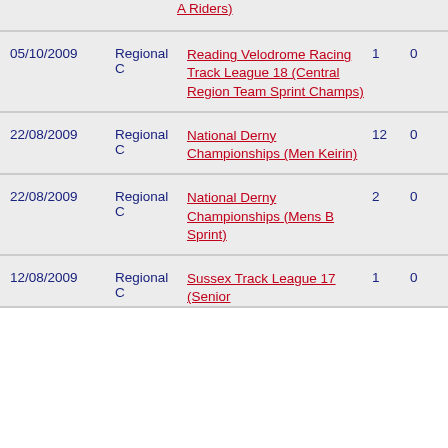| Date | Category | Event | Col1 | Col2 |
| --- | --- | --- | --- | --- |
|  |  | A Riders) |  |  |
| 05/10/2009 | Regional C | Reading Velodrome Racing Track League 18 (Central Region Team Sprint Champs) | 1 | 0 |
| 22/08/2009 | Regional C | National Derny Championships (Men Keirin) | 12 | 0 |
| 22/08/2009 | Regional C | National Derny Championships (Mens B Sprint) | 2 | 0 |
| 12/08/2009 | Regional C | Sussex Track League 17 (Senior | 1 | 0 |